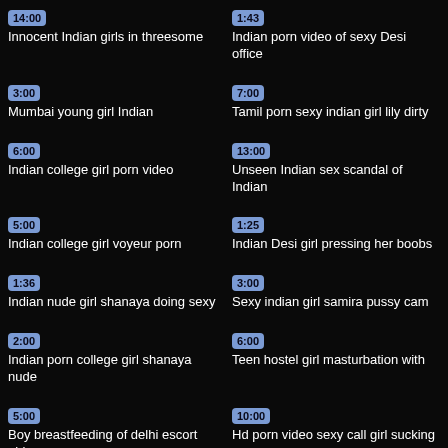14:00 Innocent Indian girls in threesome
1:43 Indian porn video of sexy Desi office
3:00 Mumbai young girl Indian
7:00 Tamil porn sexy indian girl lily dirty
6:00 Indian college girl porn video
13:00 Unseen Indian sex scandal of Indian
5:00 Indian college girl voyeur porn
1:25 Indian Desi girl pressing her boobs
1:36 Indian nude girl shanaya doing sexy
3:00 Sexy indian girl samira pussy cam
2:00 Indian porn college girl shanaya nude
6:00 Teen hostel girl masturbation with
5:00 Boy breastfeeding of delhi escort girl
10:00 Hd porn video sexy call girl sucking
4:00
4:00